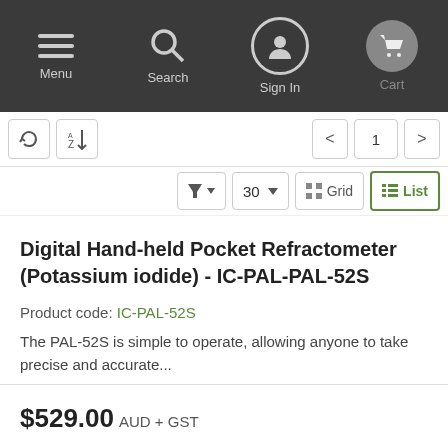Menu | Search | Sign In | Cart
Sort / Filter controls: 30 items per page, Grid view, List view
Digital Hand-held Pocket Refractometer (Potassium iodide) - IC-PAL-PAL-52S
Product code: IC-PAL-52S
The PAL-52S is simple to operate, allowing anyone to take precise and accurate...
$529.00 AUD + GST